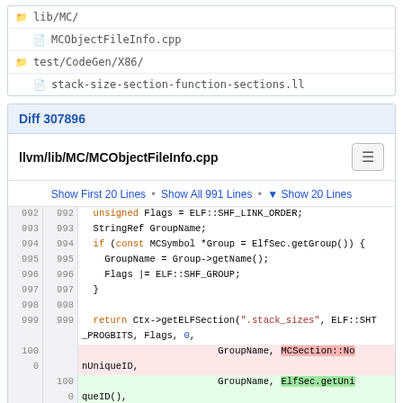lib/MC/
MCObjectFileInfo.cpp
test/CodeGen/X86/
stack-size-section-function-sections.ll
Diff 307896
llvm/lib/MC/MCObjectFileInfo.cpp
Show First 20 Lines • Show All 991 Lines • ▼ Show 20 Lines
992  992    unsigned Flags = ELF::SHF_LINK_ORDER;
993  993    StringRef GroupName;
994  994    if (const MCSymbol *Group = ElfSec.getGroup()) {
995  995      GroupName = Group->getName();
996  996      Flags |= ELF::SHF_GROUP;
997  997    }
998  998  
999  999    return Ctx->getELFSection(".stack_sizes", ELF::SHT_PROGBITS, Flags, 0,
100          GroupName, MCSection::NonUniqueID,
100          GroupName, ElfSec.getUniqueID(),